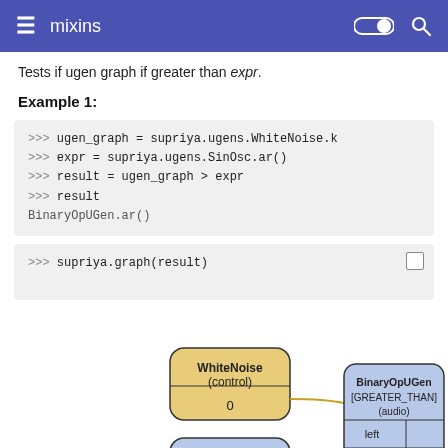mixins
Tests if ugen graph if greater than expr.
Example 1:
>>> ugen_graph = supriya.ugens.WhiteNoise.k
>>> expr = supriya.ugens.SinOsc.ar()
>>> result = ugen_graph > expr
>>> result
BinaryOpUGen.ar()
>>> supriya.graph(result)
[Figure (flowchart): Flowchart showing WhiteNoise (control) node with value 0 connecting via arrow to BinaryOpUGen [GREATER_THAN] (audio) node with left and right inputs. SinOsc (audio) node also visible at bottom left.]